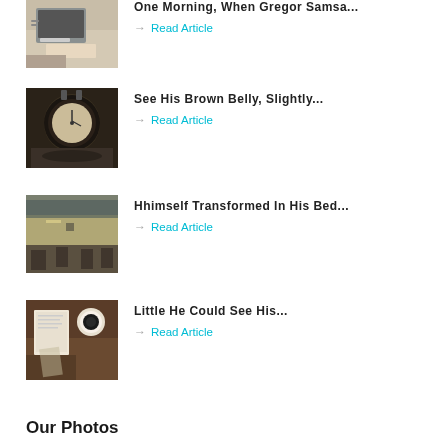[Figure (photo): Person typing on laptop with papers, top-cropped view]
One Morning, When Gregor Samsa...
→ Read Article
[Figure (photo): Vintage alarm clock on dark background]
See His Brown Belly, Slightly...
→ Read Article
[Figure (photo): Conference table with chairs and blurred background]
Hhimself Transformed In His Bed...
→ Read Article
[Figure (photo): Overhead view of person writing with coffee cup]
Little He Could See His...
→ Read Article
Our Photos